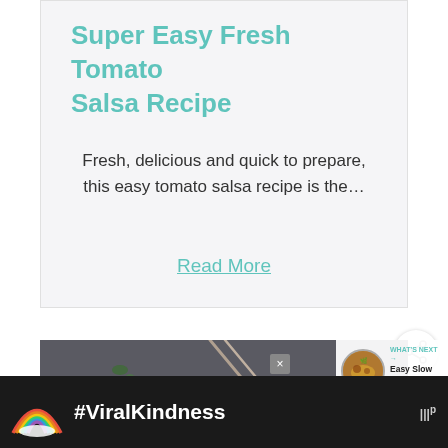Super Easy Fresh Tomato Salsa Recipe
Fresh, delicious and quick to prepare, this easy tomato salsa recipe is the…
Read More
[Figure (photo): Photo of a bowl with chopsticks/spoons on a dark background, partially visible]
WHAT'S NEXT → Easy Slow Cooker Beef...
[Figure (illustration): Rainbow illustration with colorful stripes]
#ViralKindness